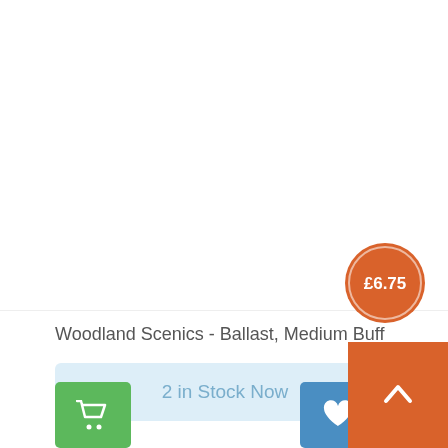[Figure (photo): Product image area (blank/white) for Woodland Scenics Ballast Medium Buff]
£6.75
Woodland Scenics - Ballast, Medium Buff
2 in Stock Now